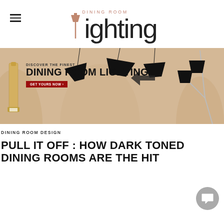DINING ROOM lighting
[Figure (illustration): Dining room lighting advertisement banner with pendant lamps and a floor lamp on a warm beige background. Text reads: DISCOVER THE FINEST DINING ROOM LIGHTING GET YOURS NOW]
DINING ROOM DESIGN
PULL IT OFF : HOW DARK TONED DINING ROOMS ARE THE HIT